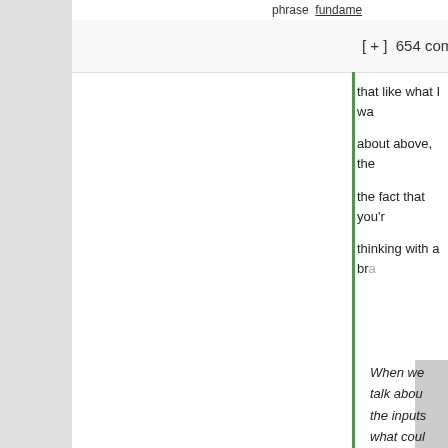phrase  fundame...
[ + ]  654 comments since  1970-01-01 00:0(  mea...
that like what I wa...  about above, the ...  the fact that you'r...  thinking with a br...
When we talk abou... the inputs... what coul... that possibly mean [i]f we're not talking from some... observer ... perspectiv...